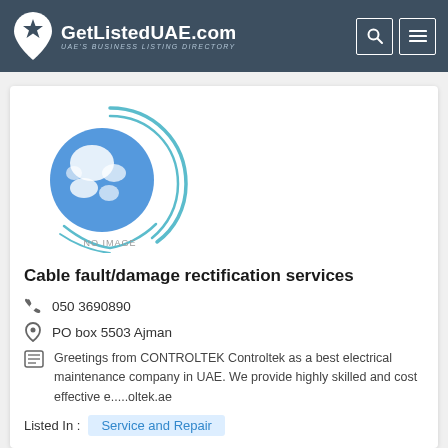GetListedUAE.com — UAE's BUSINESS LISTING DIRECTORY
[Figure (logo): Globe logo with swoosh lines and 'NO IMAGE' text placeholder for GetListedUAE.com business listing]
Cable fault/damage rectification services
050 3690890
PO box 5503 Ajman
Greetings from CONTROLTEK Controltek as a best electrical maintenance company in UAE. We provide highly skilled and cost effective e.....oltek.ae
Listed In : Service and Repair